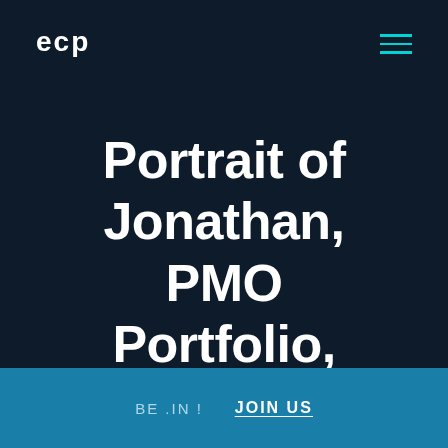ECP
Portrait of Jonathan, PMO Portfolio, Pl...
BE .IN !   JOIN US